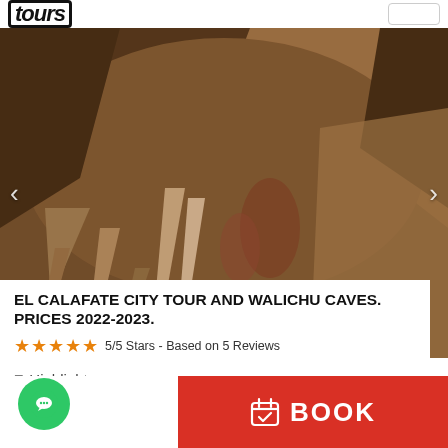tours
[Figure (photo): Interior of Walichu caves showing stalactites and rock formations with warm brown and orange tones]
EL CALAFATE CITY TOUR AND WALICHU CAVES. PRICES 2022-2023.
5/5 Stars - Based on 5 Reviews
Highlights
BOOK